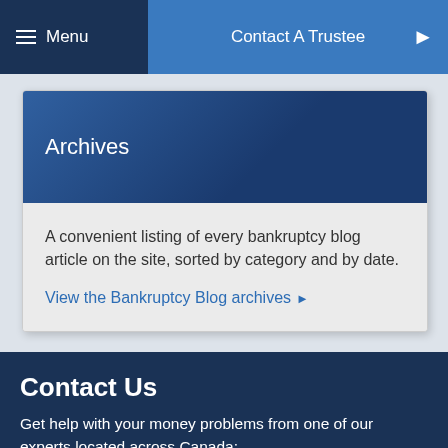Menu  |  Contact A Trustee
Archives
A convenient listing of every bankruptcy blog article on the site, sorted by category and by date.
View the Bankruptcy Blog archives ▶
Contact Us
Get help with your money problems from one of our experts located across Canada:
Find A Trustee ❯